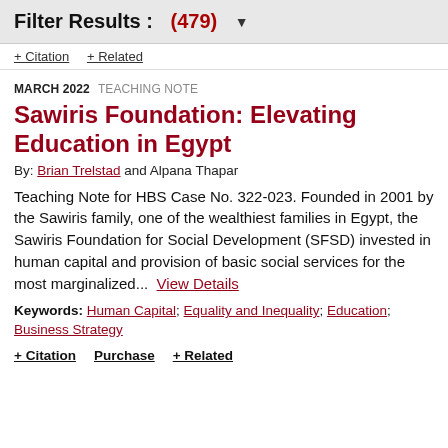Filter Results : (479)
+ Citation   + Related
MARCH 2022   TEACHING NOTE
Sawiris Foundation: Elevating Education in Egypt
By: Brian Trelstad and Alpana Thapar
Teaching Note for HBS Case No. 322-023. Founded in 2001 by the Sawiris family, one of the wealthiest families in Egypt, the Sawiris Foundation for Social Development (SFSD) invested in human capital and provision of basic social services for the most marginalized...  View Details
Keywords: Human Capital; Equality and Inequality; Education; Business Strategy
+ Citation   Purchase   + Related